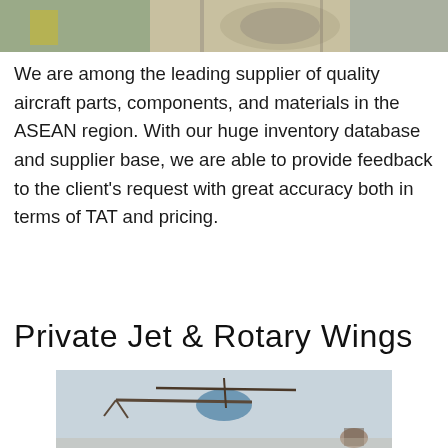[Figure (photo): Top portion of a photo showing aircraft engine or mechanical parts with a person in a yellow vest visible]
We are among the leading supplier of quality aircraft parts, components, and materials in the ASEAN region. With our huge inventory database and supplier base, we are able to provide feedback to the client's request with great accuracy both in terms of TAT and pricing.
Private Jet & Rotary Wings
[Figure (photo): Photo of a rotary wing aircraft (helicopter) being handled by a person on the ground, showing rotor components]